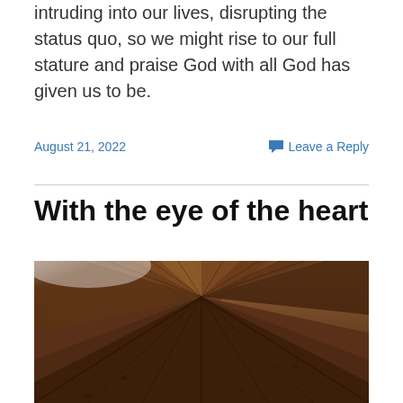intruding into our lives, disrupting the status quo, so we might rise to our full stature and praise God with all God has given us to be.
August 21, 2022    Leave a Reply
With the eye of the heart
[Figure (photo): Close-up photograph of rustic wooden floorboards taken from a low angle, with light streaming in from the upper left, showing the texture and grain of dark wooden planks converging toward the background.]